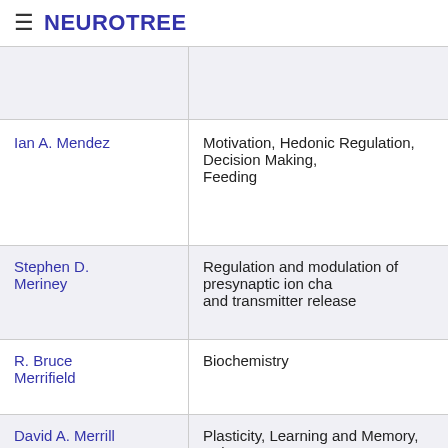≡ NEUROTREE
| Name | Research Area |
| --- | --- |
|  |  |
| Ian A. Mendez | Motivation, Hedonic Regulation, Decision Making, Feeding |
| Stephen D. Meriney | Regulation and modulation of presynaptic ion cha... and transmitter release |
| R. Bruce Merrifield | Biochemistry |
| David A. Merrill | Plasticity, Learning and Memory, Aging |
| Everett W. Mettler |  |